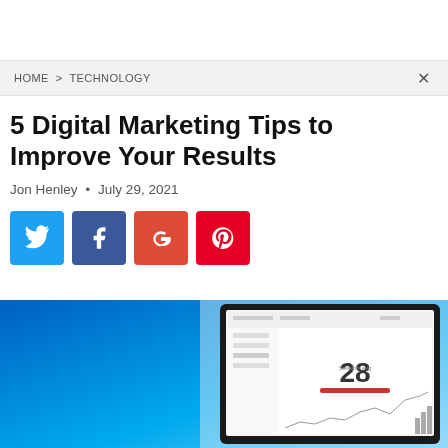HOME > TECHNOLOGY
5 Digital Marketing Tips to Improve Your Results
Jon Henley · July 29, 2021
[Figure (other): Social share buttons: Twitter (blue), Facebook (dark blue), Google+ (red-orange), Pinterest (red)]
[Figure (photo): Photo of a laptop screen showing a digital analytics dashboard with the number 28 and a line chart]